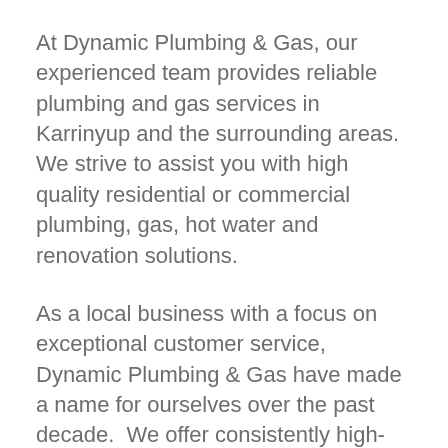At Dynamic Plumbing & Gas, our experienced team provides reliable plumbing and gas services in Karrinyup and the surrounding areas. We strive to assist you with high quality residential or commercial plumbing, gas, hot water and renovation solutions.
As a local business with a focus on exceptional customer service, Dynamic Plumbing & Gas have made a name for ourselves over the past decade.  We offer consistently high-quality plumbing, hot water and gas services in Karrinyup, WA and across the Perth region.
Why else should you call Dynamic